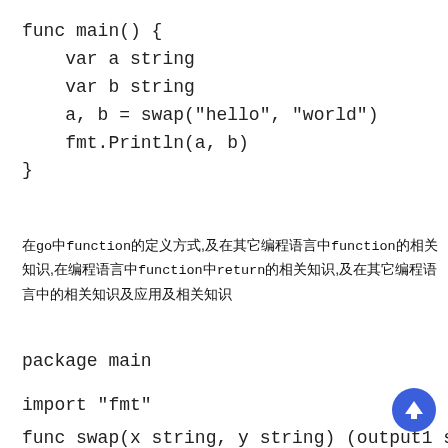func main() {
    var a string
    var b string
    a, b = swap("hello", "world")
    fmt.Println(a, b)
}
在go中function的定义方式,及在其它编程语言中function的相 关知识,在编程语言中function中return的相关知识,及在其它编程语言中的 应用及相关知识
package main
import "fmt"
func swap(x string, y string) (output1 string